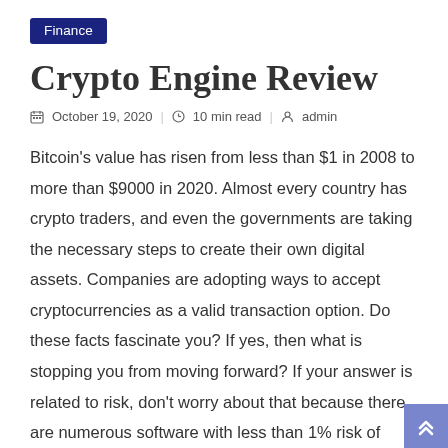Finance
Crypto Engine Review
October 19, 2020  10 min read  admin
Bitcoin's value has risen from less than $1 in 2008 to more than $9000 in 2020. Almost every country has crypto traders, and even the governments are taking the necessary steps to create their own digital assets. Companies are adopting ways to accept cryptocurrencies as a valid transaction option. Do these facts fascinate you? If yes, then what is stopping you from moving forward? If your answer is related to risk, don't worry about that because there are numerous software with less than 1% risk of